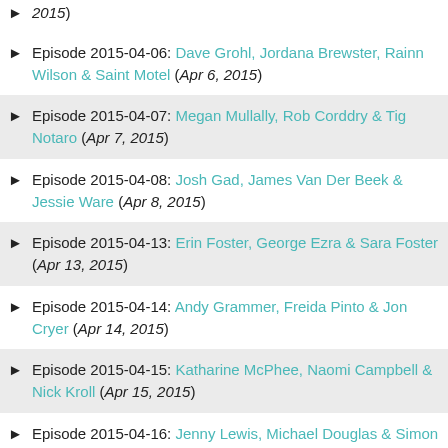2015)
Episode 2015-04-06: Dave Grohl, Jordana Brewster, Rainn Wilson & Saint Motel (Apr 6, 2015)
Episode 2015-04-07: Megan Mullally, Rob Corddry & Tig Notaro (Apr 7, 2015)
Episode 2015-04-08: Josh Gad, James Van Der Beek & Jessie Ware (Apr 8, 2015)
Episode 2015-04-13: Erin Foster, George Ezra & Sara Foster (Apr 13, 2015)
Episode 2015-04-14: Andy Grammer, Freida Pinto & Jon Cryer (Apr 14, 2015)
Episode 2015-04-15: Katharine McPhee, Naomi Campbell & Nick Kroll (Apr 15, 2015)
Episode 2015-04-16: Jenny Lewis, Michael Douglas & Simon Cowell (Apr 16, 2015)
Episode 2015-04-20: Rosario Dawson, Sharon...